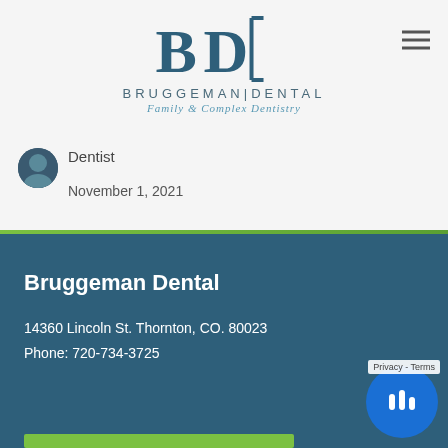[Figure (logo): Bruggeman Dental logo with BD monogram and text 'BRUGGEMAN DENTAL Family & Complex Dentistry']
[Figure (other): Hamburger menu icon (three horizontal lines) in top right corner]
Dentist
November 1, 2021
Bruggeman Dental
14360 Lincoln St. Thornton, CO. 80023
Phone: 720-734-3725
Privacy - Terms